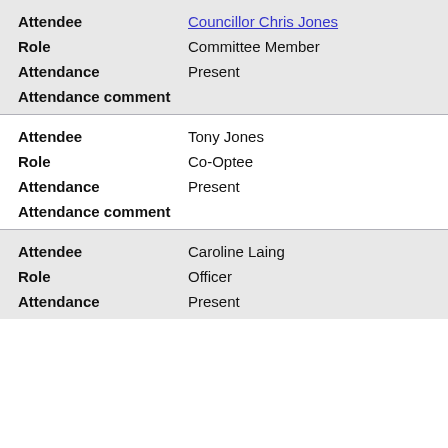Attendee: Councillor Chris Jones
Role: Committee Member
Attendance: Present
Attendance comment
Attendee: Tony Jones
Role: Co-Optee
Attendance: Present
Attendance comment
Attendee: Caroline Laing
Role: Officer
Attendance: Present